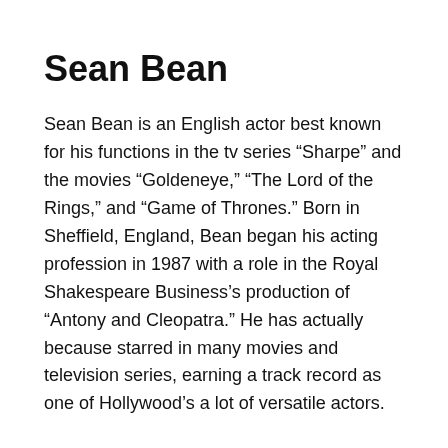Sean Bean
Sean Bean is an English actor best known for his functions in the tv series “Sharpe” and the movies “Goldeneye,” “The Lord of the Rings,” and “Game of Thrones.” Born in Sheffield, England, Bean began his acting profession in 1987 with a role in the Royal Shakespeare Business’s production of “Antony and Cleopatra.” He has actually because starred in many movies and television series, earning a track record as one of Hollywood’s a lot of versatile actors.